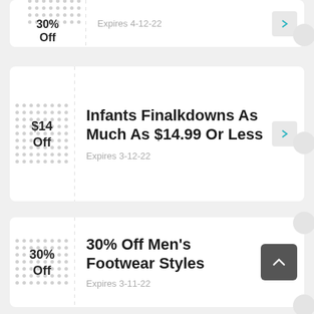30% Off / Expires 4-12-22
$14 Off / Infants Finalkdowns As Much As $14.99 Or Less / Expires 3-12-22
30% Off / 30% Off Men's Footwear Styles / Expires 3-11-22